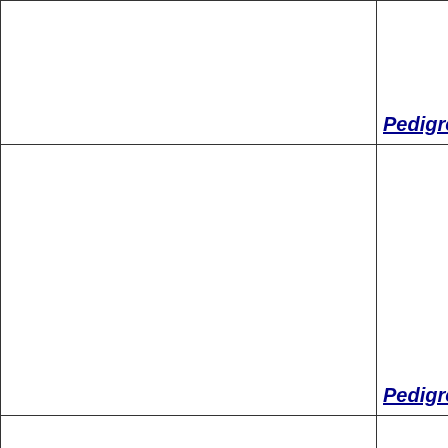|  | Pedigree |
|  | Pedigree |
|  |  |